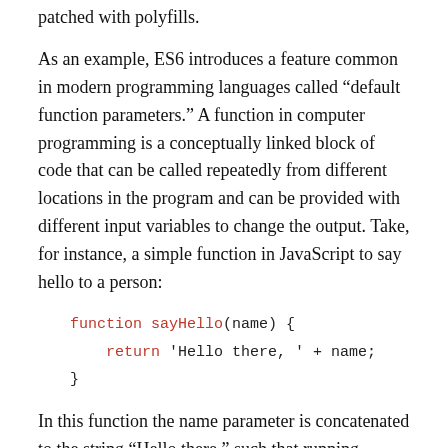patched with polyfills.
As an example, ES6 introduces a feature common in modern programming languages called “default function parameters.” A function in computer programming is a conceptually linked block of code that can be called repeatedly from different locations in the program and can be provided with different input variables to change the output. Take, for instance, a simple function in JavaScript to say hello to a person:
In this function the name parameter is concatenated to the string “Hello there,” such that running sayHello('Andrew') will return the output “Hello there, Andrew”.
If we run sayHello() without the parameter, the function returns “Hello there, undefined” because undefined is the default value for any missing data in JavaScript. If we were writing a more complex function, this behavior would probably